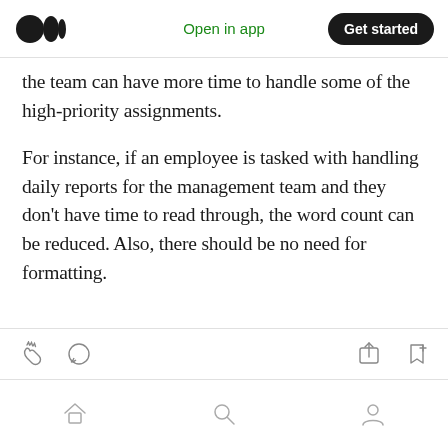Medium app header — logo, Open in app, Get started
the team can have more time to handle some of the high-priority assignments.
For instance, if an employee is tasked with handling daily reports for the management team and they don't have time to read through, the word count can be reduced. Also, there should be no need for formatting.
Action toolbar with clap, comment, share, bookmark icons; bottom navigation with home, search, profile icons